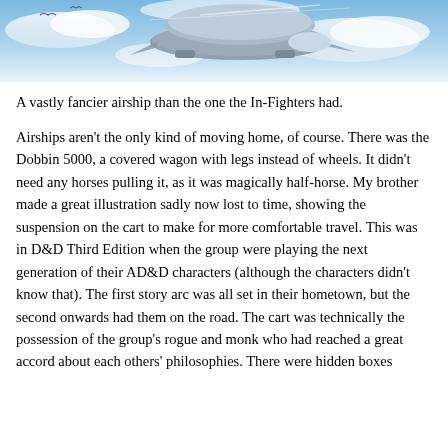[Figure (illustration): Fantasy airship flying through blue sky with clouds]
A vastly fancier airship than the one the In-Fighters had.
Airships aren't the only kind of moving home, of course. There was the Dobbin 5000, a covered wagon with legs instead of wheels. It didn't need any horses pulling it, as it was magically half-horse. My brother made a great illustration sadly now lost to time, showing the suspension on the cart to make for more comfortable travel. This was in D&D Third Edition when the group were playing the next generation of their AD&D characters (although the characters didn't know that). The first story arc was all set in their hometown, but the second onwards had them on the road. The cart was technically the possession of the group's rogue and monk who had reached a great accord about each others' philosophies. There were hidden boxes